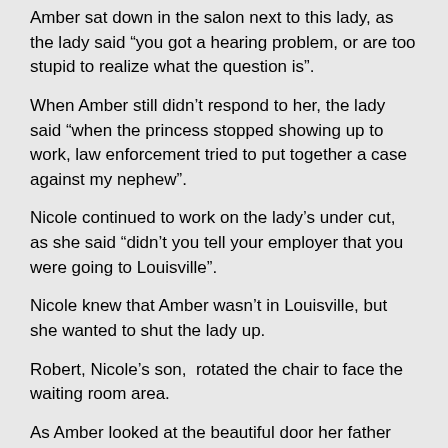Amber sat down in the salon next to this lady, as the lady said “you got a hearing problem, or are too stupid to realize what the question is”.
When Amber still didn’t respond to her, the lady said “when the princess stopped showing up to work, law enforcement tried to put together a case against my nephew”.
Nicole continued to work on the lady’s under cut, as she said “didn’t you tell your employer that you were going to Louisville”.
Nicole knew that Amber wasn’t in Louisville, but she wanted to shut the lady up.
Robert, Nicole’s son,  rotated the chair to face the waiting room area.
As Amber looked at the beautiful door her father installed on the walk basement wall, she said “no, it must have slipped my mind”.